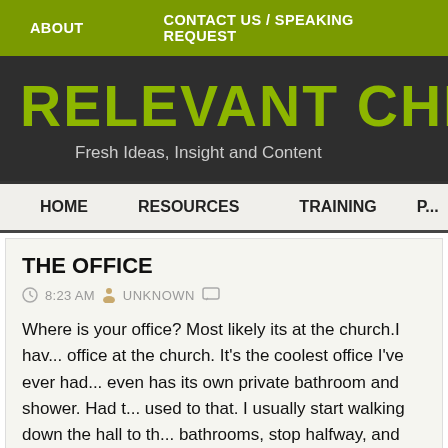ABOUT    CONTACT US / SPEAKING REQUEST
RELEVANT CHI...
Fresh Ideas, Insight and Content
HOME    RESOURCES    TRAINING    P...
THE OFFICE
8:23 AM  UNKNOWN
Where is your office? Most likely its at the church.I hav... office at the church. It's the coolest office I've ever had... even has its own private bathroom and shower. Had t... used to that. I usually start walking down the hall to th... bathrooms, stop halfway, and remember there's a...